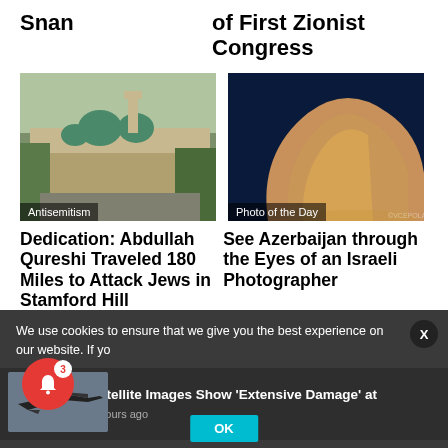Snan
of First Zionist Congress
[Figure (photo): Cityscape with domed mosque buildings and green domes, labeled Antisemitism]
[Figure (photo): Modern curved architecture building at night, labeled Photo of the Day]
Dedication: Abdullah Qureshi Traveled 180 Miles to Attack Jews in Stamford Hill
See Azerbaijan through the Eyes of an Israeli Photographer
We use cookies to ensure that we give you the best experience on our website. If yo
[Figure (photo): Military jet aircraft - Satellite Images Show 'Extensive Damage' at - 5 hours ago]
OK